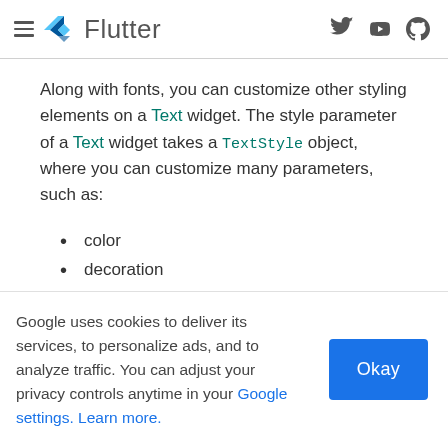Flutter
Along with fonts, you can customize other styling elements on a Text widget. The style parameter of a Text widget takes a TextStyle object, where you can customize many parameters, such as:
color
decoration
decorationColor
Google uses cookies to deliver its services, to personalize ads, and to analyze traffic. You can adjust your privacy controls anytime in your Google settings. Learn more.